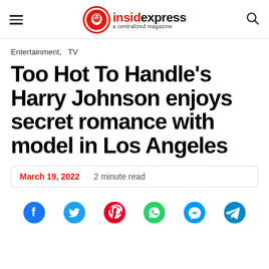insidexpress - a centralized magazine
Entertainment,  TV
Too Hot To Handle's Harry Johnson enjoys secret romance with model in Los Angeles
March 19, 2022 · 2 minute read
[Figure (other): Social media share icons: Facebook, Twitter, Pinterest, WhatsApp, Messenger, Telegram]